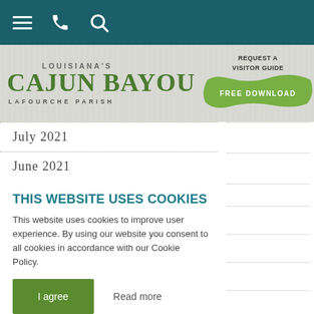[Figure (screenshot): Top navigation bar with dark teal background showing hamburger menu, phone, and search icons in white]
[Figure (logo): Louisiana's Cajun Bayou - Lafourche Parish logo on wood-textured background with Request a Visitor Guide / Free Download button on right]
July 2021
June 2021
THIS WEBSITE USES COOKIES
This website uses cookies to improve user experience. By using our website you consent to all cookies in accordance with our Cookie Policy.
I agree
Read more
October 2020